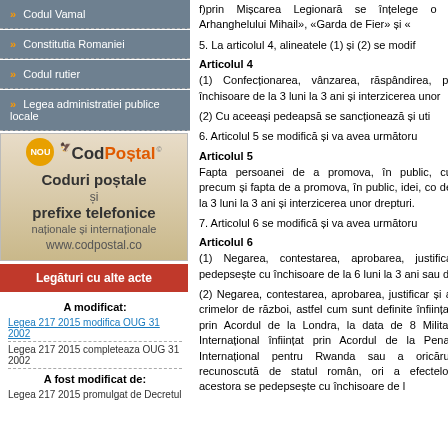» Codul Vamal
» Constitutia Romaniei
» Codul rutier
» Legea administratiei publice locale
[Figure (infographic): CodPostal advertisement showing logo, 'NOU' badge, and tagline 'Coduri postale si prefixe telefonice nationale si internationale www.codpostal.co']
Legaturi cu alte acte
A modificat:
Legea 217 2015 modifica OUG 31 2002
Legea 217 2015 completeaza OUG 31 2002
A fost modificat de:
Legea 217 2015 promulgat de Decretul
f)prin Mișcarea Legionară se înțelege o t... Arhanghelului Mihail», «Garda de Fier» și «
5. La articolul 4, alineatele (1) și (2) se modif...
Articolul 4
(1) Confecționarea, vânzarea, răspândirea, pr... închisoare de la 3 luni la 3 ani și interzicerea unor...
(2) Cu aceeași pedeapsă se sancționează și uti...
6. Articolul 5 se modifică și va avea următoru...
Articolul 5
Fapta persoanei de a promova, în public, cu... precum și fapta de a promova, în public, idei, co... de la 3 luni la 3 ani și interzicerea unor drepturi.
7. Articolul 6 se modifică și va avea următoru...
Articolul 6
(1) Negarea, contestarea, aprobarea, justifica... pedepsește cu închisoare de la 6 luni la 3 ani sau d...
(2) Negarea, contestarea, aprobarea, justificar... și a crimelor de război, astfel cum sunt definite... înființat prin Acordul de la Londra, la data de 8... Militar Internațional înființat prin Acordul de la... Penal Internațional pentru Rwanda sau a oricărui... recunoscută de statul român, ori a efectelor acestora se pedepsește cu închisoare de l...